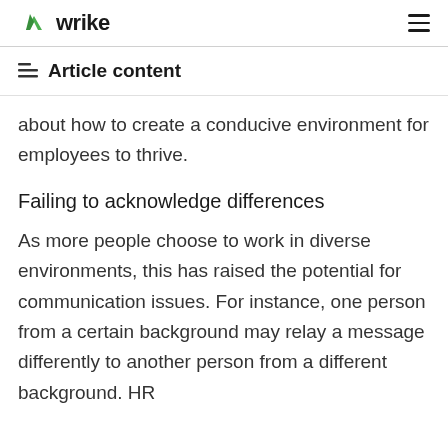wrike
Article content
about how to create a conducive environment for employees to thrive.
Failing to acknowledge differences
As more people choose to work in diverse environments, this has raised the potential for communication issues. For instance, one person from a certain background may relay a message differently to another person from a different background. HR